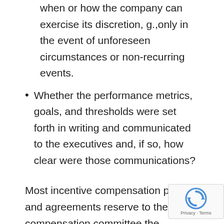when or how the company can exercise its discretion, g.,only in the event of unforeseen circumstances or non-recurring events.
Whether the performance metrics, goals, and thresholds were set forth in writing and communicated to the executives and, if so, how clear were those communications?
Most incentive compensation plans and agreements reserve to the compensation committee the absolute (or limited) discretion to reduce the amount of compensation payable under the objective performance metrics and goals of the plan or agreement. Ironically, the practice of providing the compensation